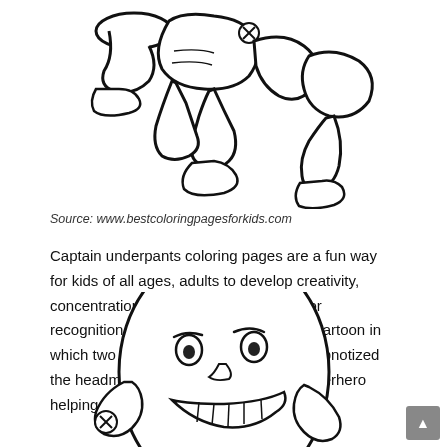[Figure (illustration): Cartoon line-art illustration of Captain Underpants character running with shoes and cape, partially visible (cropped at top)]
Source: www.bestcoloringpagesforkids.com
Captain underpants coloring pages are a fun way for kids of all ages, adults to develop creativity, concentration, fine motor skills, and color recognition. Coloring pages based on a cartoon in which two elementary school students hypnotized the headmaster so that he became a superhero helping their classmates.
[Figure (illustration): Cartoon line-art illustration of a round egg-shaped character with a face, holding something, partially visible (cropped at bottom)]